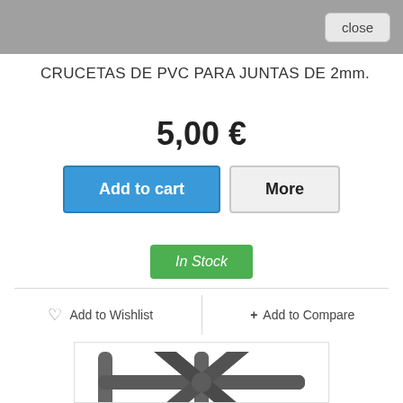close
CRUCETAS DE PVC PARA JUNTAS DE 2mm.
5,00 €
Add to cart
More
In Stock
♡ Add to Wishlist
+ Add to Compare
[Figure (photo): PVC tile spacer cross (cruceta) product photo on white background]